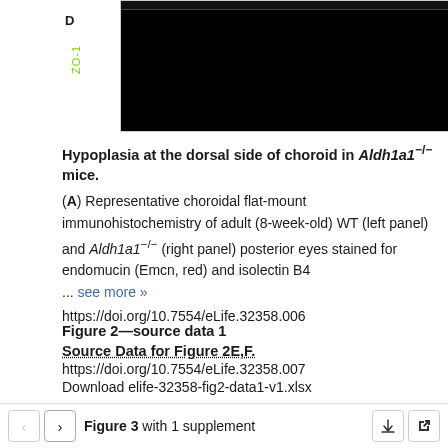[Figure (photo): Microscopy image panel D showing ZO-1 staining in green fluorescence, four panels of choroidal flat-mount immunohistochemistry with scale bar]
Hypoplasia at the dorsal side of choroid in Aldh1a1−/− mice. (A) Representative choroidal flat-mount immunohistochemistry of adult (8-week-old) WT (left panel) and Aldh1a1−/− (right panel) posterior eyes stained for endomucin (Emcn, red) and isolectin B4 ... see more »
https://doi.org/10.7554/eLife.32358.006
Figure 2—source data 1
Source Data for Figure 2E,F.
https://doi.org/10.7554/eLife.32358.007
Download elife-32358-fig2-data1-v1.xlsx
Figure 3 with 1 supplement